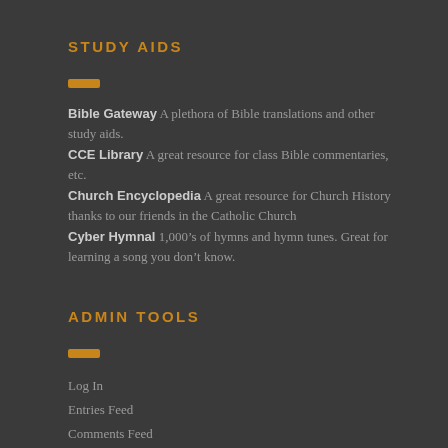STUDY AIDS
Bible Gateway A plethora of Bible translations and other study aids.
CCE Library A great resource for class Bible commentaries, etc.
Church Encyclopedia A great resource for Church History thanks to our friends in the Catholic Church
Cyber Hymnal 1,000’s of hymns and hymn tunes. Great for learning a song you don’t know.
ADMIN TOOLS
Log In
Entries Feed
Comments Feed
WordPress.Org